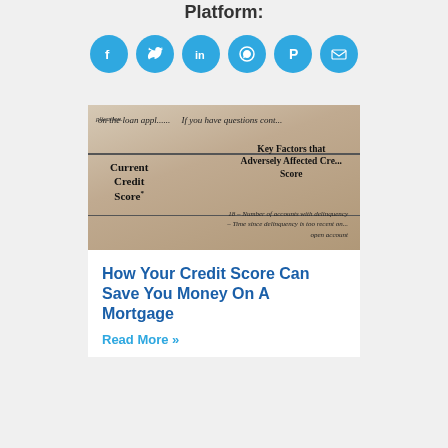Platform:
[Figure (infographic): Six social sharing icon buttons (Facebook, Twitter, LinkedIn, WhatsApp, Pinterest, Email) as blue circles with white icons]
[Figure (photo): Close-up photo of a credit report document showing fields: 'Current Credit Score*' and 'Key Factors that Adversely Affected Credit Score', with partial text about number of accounts with delinquency and time since delinquency]
How Your Credit Score Can Save You Money On A Mortgage
Read More »